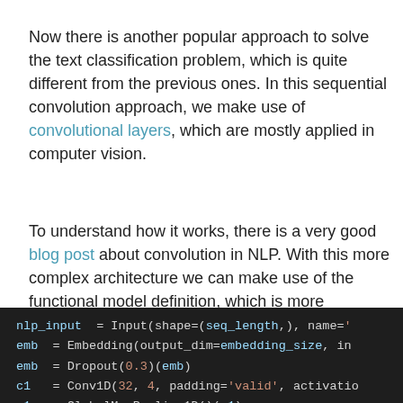Now there is another popular approach to solve the text classification problem, which is quite different from the previous ones. In this sequential convolution approach, we make use of convolutional layers, which are mostly applied in computer vision.
To understand how it works, there is a very good blog post about convolution in NLP. With this more complex architecture we can make use of the functional model definition, which is more powerful.
nlp_input = Input(shape=(seq_length,), name='
emb = Embedding(output_dim=embedding_size, in
emb = Dropout(0.3)(emb)
c1 = Conv1D(32, 4, padding='valid', activatio
p1 = GlobalMaxPooling1D()(c1)